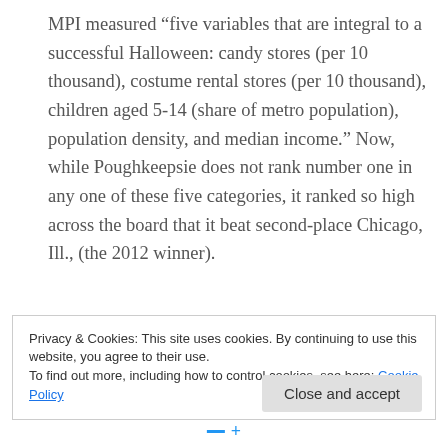MPI measured “five variables that are integral to a successful Halloween: candy stores (per 10 thousand), costume rental stores (per 10 thousand), children aged 5-14 (share of metro population), population density, and median income.” Now, while Poughkeepsie does not rank number one in any one of these five categories, it ranked so high across the board that it beat second-place Chicago, Ill., (the 2012 winner).
Privacy & Cookies: This site uses cookies. By continuing to use this website, you agree to their use.
To find out more, including how to control cookies, see here: Cookie Policy